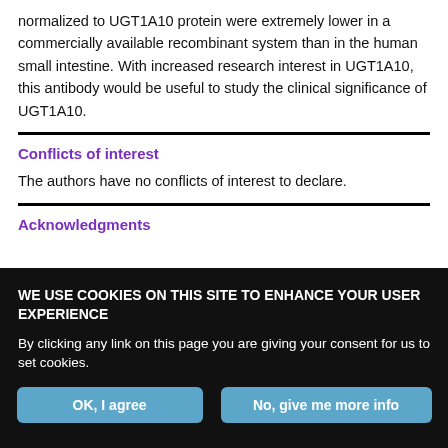normalized to UGT1A10 protein were extremely lower in a commercially available recombinant system than in the human small intestine. With increased research interest in UGT1A10, this antibody would be useful to study the clinical significance of UGT1A10.
Conflicts of interest
The authors have no conflicts of interest to declare.
Acknowledgments
WE USE COOKIES ON THIS SITE TO ENHANCE YOUR USER EXPERIENCE
By clicking any link on this page you are giving your consent for us to set cookies.